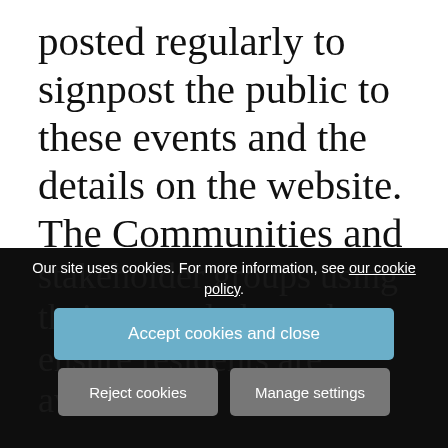posted regularly to signpost the public to these events and the details on the website. The Communities and Business Growth Team will also engage stakeholder groups using their normal channels to ensure residents are aware.
Our site uses cookies. For more information, see our cookie policy.
Accept cookies and close
Reject cookies
Manage settings